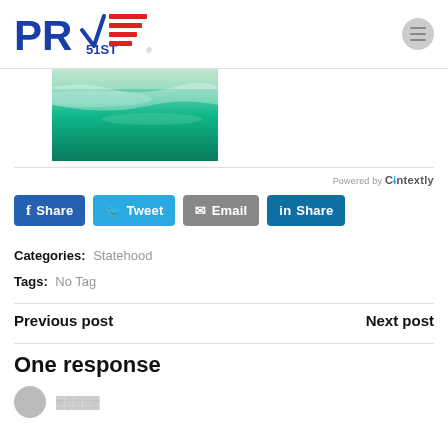[Figure (logo): PR51st logo with blue PR text, 51ST text, red horizontal stripes like American flag, and a menu hamburger icon on the right]
[Figure (photo): Aerial photo of a beach shoreline with turquoise ocean water]
Powered by Contextly
Share Tweet Email Share (social media buttons)
Categories: Statehood
Tags: No Tag
Previous post   Next post
One response